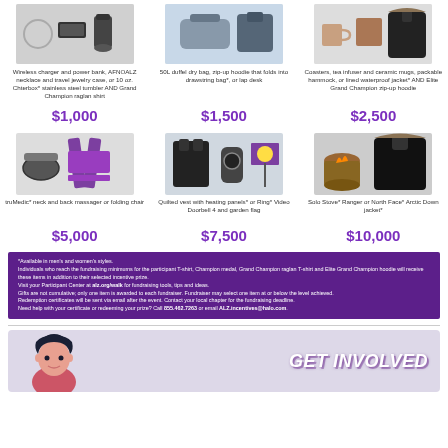[Figure (photo): Row of prize images: wireless charger/power bank/necklace/travel jewelry case/tumbler/raglan shirt; duffel bag/zip-up hoodie; coasters/tea infuser/ceramic mugs/hammock/lined waterproof jacket/Elite Grand Champion zip-up hoodie]
Wireless charger and power bank, AFNOALZ necklace and travel jewelry case, or 10 oz. Chterbox* stainless steel tumbler AND Grand Champion raglan shirt
50L duffel dry bag, zip-up hoodie that folds into drawstring bag*, or lap desk
Coasters, tea infuser and ceramic mugs, packable hammock, or lined waterproof jacket* AND Elite Grand Champion zip-up hoodie
$1,000
$1,500
$2,500
[Figure (photo): Row of prize images: truMedic neck and back massager or folding chair; quilted vest with heating panels/Ring Video Doorbell 4/garden flag; Solo Stove Ranger or North Face Arctic Down jacket]
truMedic* neck and back massager or folding chair
Quilted vest with heating panels* or Ring* Video Doorbell 4 and garden flag
Solo Stove* Ranger or North Face* Arctic Down jacket*
$5,000
$7,500
$10,000
*Available in men's and women's styles. Individuals who reach the fundraising minimums for the participant T-shirt, Champion medal, Grand Champion raglan T-shirt and Elite Grand Champion hoodie will receive these items in addition to their selected incentive prize. Visit your Participant Center at alz.org/walk for fundraising tools, tips and ideas. Gifts are not cumulative; only one item is awarded to each fundraiser. Fundraiser may select one item at or below the level achieved. Redemption certificates will be sent via email after the event. Contact your local chapter for the fundraising deadline. Need help with your certificate or redeeming your prize? Call 855.462.7263 or email ALZ.incentives@halo.com
[Figure (illustration): GET INVOLVED banner with illustrated person graphic on lavender background]